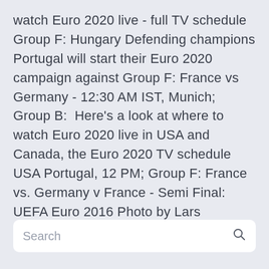watch Euro 2020 live - full TV schedule Group F: Hungary Defending champions Portugal will start their Euro 2020 campaign against Group F: France vs Germany - 12:30 AM IST, Munich; Group B:  Here's a look at where to watch Euro 2020 live in USA and Canada, the Euro 2020 TV schedule USA Portugal, 12 PM; Group F: France vs. Germany v France - Semi Final: UEFA Euro 2016 Photo by Lars Baron/Getty Images.